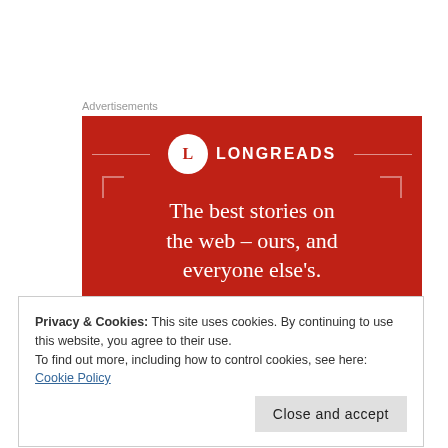Advertisements
[Figure (advertisement): Longreads advertisement on red background. Logo circle with 'L', brand name 'LONGREADS', tagline 'The best stories on the web – ours, and everyone else's.', and a 'Start reading' button.]
Privacy & Cookies: This site uses cookies. By continuing to use this website, you agree to their use.
To find out more, including how to control cookies, see here: Cookie Policy
Close and accept